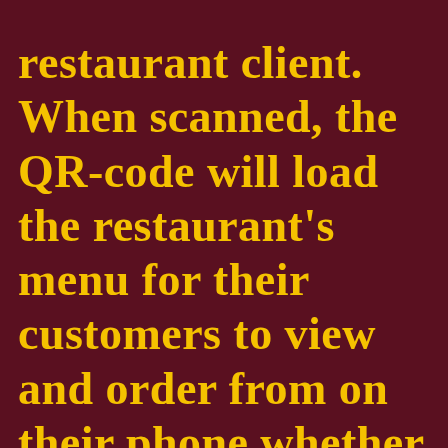restaurant client. When scanned, the QR-code will load the restaurant's menu for their customers to view and order from on their phone whether in the restaurant or from home.